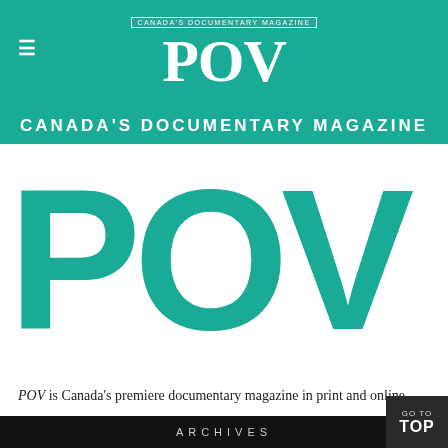CANADA'S DOCUMENTARY MAGAZINE — POV
[Figure (logo): Large teal POV logo on white background spanning the main content area]
POV is Canada's premiere documentary magazine in print and online.
POV engages filmmakers and film lovers in conversations about the art of non-fiction.
ARCHIVES